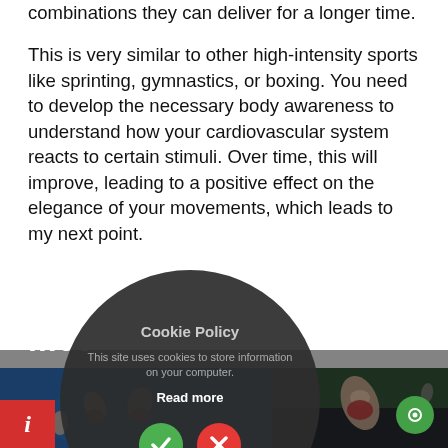combinations they can deliver for a longer time.
This is very similar to other high-intensity sports like sprinting, gymnastics, or boxing. You need to develop the necessary body awareness to understand how your cardiovascular system reacts to certain stimuli. Over time, this will improve, leading to a positive effect on the elegance of your movements, which leads to my next point.
[Figure (screenshot): Cookie Policy popup overlay with dark circular background. Title: 'Cookie Policy'. Body text: 'This site uses cookies to store information on your computer.' Link: 'Read more'. Two buttons: green checkmark (accept) and red X (reject).]
[Figure (photo): Two side-by-side sports photos at the bottom of the page. Left photo shows gymnasts on a blue mat. Right photo shows a gymnast performing on what appears to be a stage with green/dark background. A partial section label and info bar are visible.]